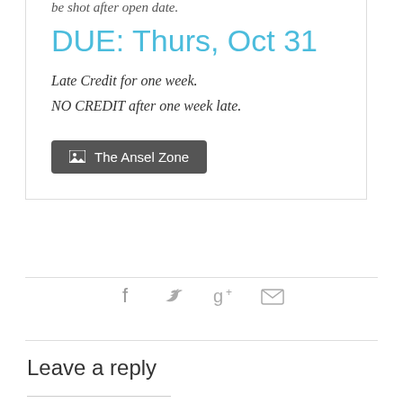be shot after open date.
DUE: Thurs, Oct 31
Late Credit for one week.
NO CREDIT after one week late.
[Figure (other): Button labeled 'The Ansel Zone' with image icon]
[Figure (other): Social share icons: Facebook, Twitter, Google+, Email]
Leave a reply